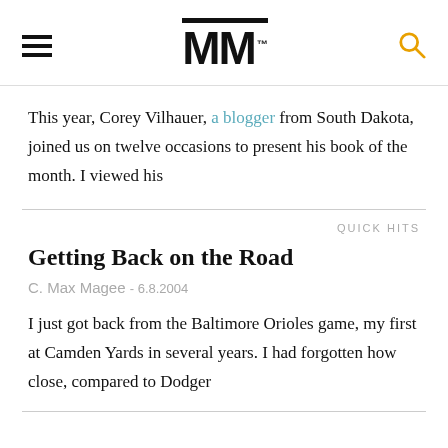MM
This year, Corey Vilhauer, a blogger from South Dakota, joined us on twelve occasions to present his book of the month. I viewed his
QUICK HITS
Getting Back on the Road
C. Max Magee - 6.8.2004
I just got back from the Baltimore Orioles game, my first at Camden Yards in several years. I had forgotten how close, compared to Dodger